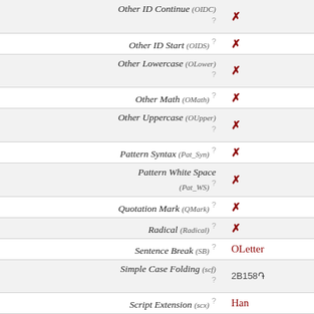| Property | Value |
| --- | --- |
| Other ID Continue (OIDC) ? | ✗ |
| Other ID Start (OIDS) ? | ✗ |
| Other Lowercase (OLower) ? | ✗ |
| Other Math (OMath) ? | ✗ |
| Other Uppercase (OUpper) ? | ✗ |
| Pattern Syntax (Pat_Syn) ? | ✗ |
| Pattern White Space (Pat_WS) ? | ✗ |
| Quotation Mark (QMark) ? | ✗ |
| Radical (Radical) ? | ✗ |
| Sentence Break (SB) ? | OLetter |
| Simple Case Folding (scf) ? | 2B158֏ |
| Script Extension (scx) ? | Han |